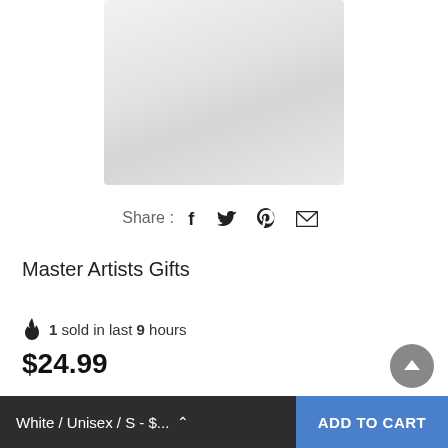[Figure (photo): Partial view of a white/light gray t-shirt product image, cropped at top]
Share : f 𝕥 𝕡 ✉
Master Artists Gifts
🔥 1 sold in last 9 hours
$24.99
Color
Gender
White / Unisex / S - $...
ADD TO CART